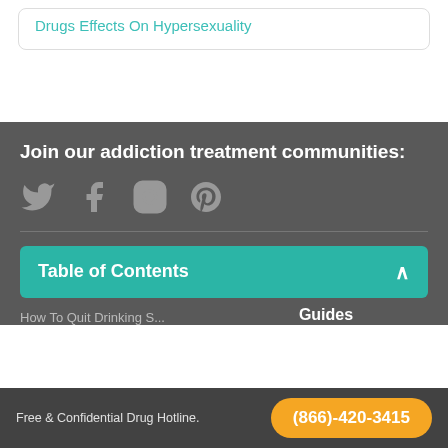Drugs Effects On Hypersexuality
Join our addiction treatment communities:
[Figure (illustration): Social media icons: Twitter, Facebook, Instagram, Pinterest in gray]
Table of Contents
Guides
How To Quit Drinking S...
Free & Confidential Drug Hotline. (866)-420-3415